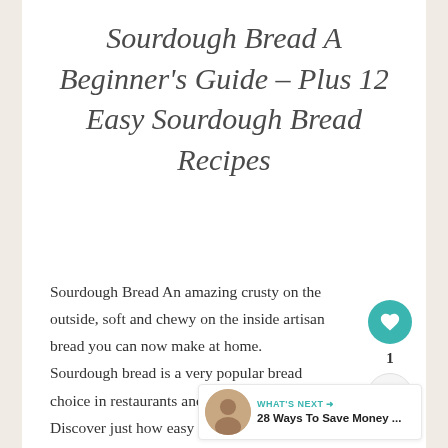Sourdough Bread A Beginner's Guide – Plus 12 Easy Sourdough Bread Recipes
Sourdough Bread An amazing crusty on the outside, soft and chewy on the inside artisan bread you can now make at home. Sourdough bread is a very popular bread choice in restaurants and in the bakery aisle. Discover just how easy to make sourdough at home plus 12 easy